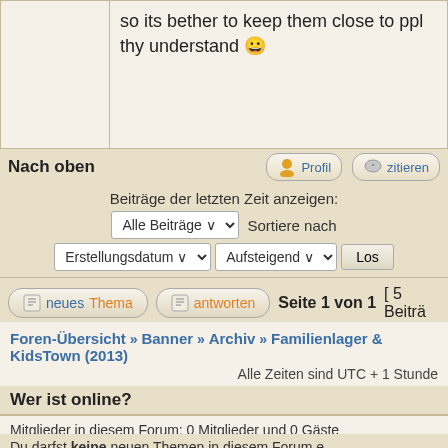so its bether to keep them close to ppl thy understand 😀
Nach oben
Profil
zitieren
Beiträge der letzten Zeit anzeigen:
Alle Beiträge   Sortiere nach
Erstellungsdatum   Aufsteigend   Los
neues Thema   antworten   Seite 1 von 1 [ 5 Beiträ...
Foren-Übersicht » Banner » Archiv » Familienlager & KidsTown (2013)
Alle Zeiten sind UTC + 1 Stunde
Wer ist online?
Mitglieder in diesem Forum: 0 Mitglieder und 0 Gäste
Du darfst keine neuen Themen in diesem Forum e...